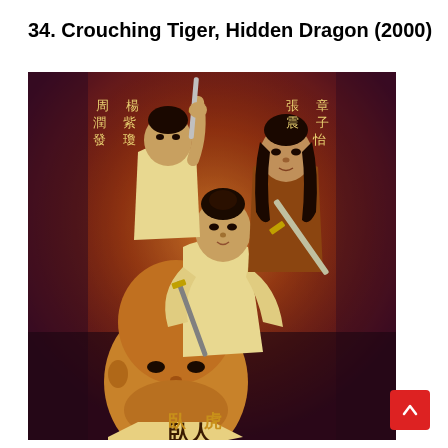34. Crouching Tiger, Hidden Dragon (2000)
[Figure (photo): Movie poster for Crouching Tiger, Hidden Dragon (2000) featuring four characters in martial arts poses against a red-orange background with Chinese characters. A bald man in the foreground, a woman in white holding a sword, a man with long hair in the back right, and a woman in white in the center. Chinese characters visible at top and bottom of poster.]